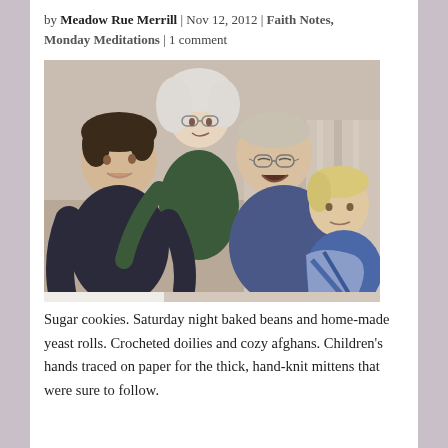by Meadow Rue Merrill | Nov 12, 2012 | Faith Notes, Monday Meditations | 1 comment
[Figure (photo): Family photo showing two elderly grandparents seated on a couch with two young grandchildren, one boy on the left leaning against a grandmother with white hair and glasses, and a toddler on the right sitting on an elderly grandfather's lap.]
Sugar cookies. Saturday night baked beans and home-made yeast rolls. Crocheted doilies and cozy afghans. Children's hands traced on paper for the thick, hand-knit mittens that were sure to follow.